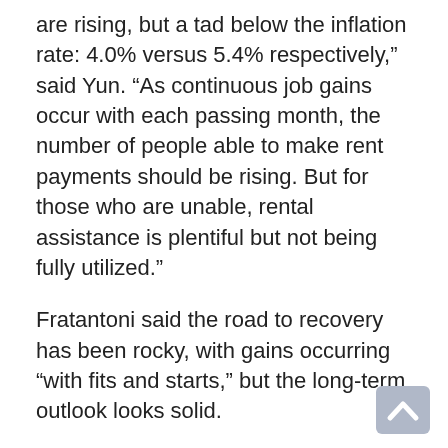are rising, but a tad below the inflation rate: 4.0% versus 5.4% respectively," said Yun. "As continuous job gains occur with each passing month, the number of people able to make rent payments should be rising. But for those who are unable, rental assistance is plentiful but not being fully utilized."
Fratantoni said the road to recovery has been rocky, with gains occurring "with fits and starts," but the long-term outlook looks solid.
"The unemployment rate dropped by half a point, including a 560,000 decline in the long-term unemployed," said Fratantoni. "The curtailment of enhanced UI benefits in some states likely encouraged some of this decline. We continue to forecast that the unemployment rate will drop to